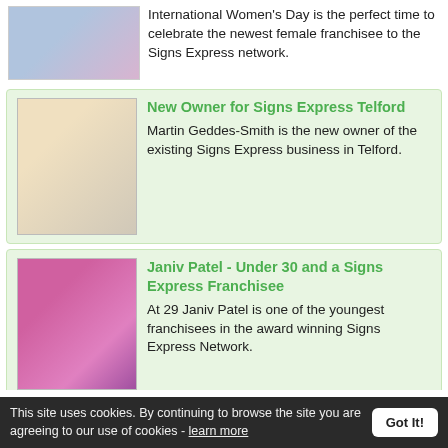International Women's Day is the perfect time to celebrate the newest female franchisee to the Signs Express network.
New Owner for Signs Express Telford
Martin Geddes-Smith is the new owner of the existing Signs Express business in Telford.
Janiv Patel - Under 30 and a Signs Express Franchisee
At 29 Janiv Patel is one of the youngest franchisees in the award winning Signs Express Network.
Ray Allenby and Jane Wiles are sailing into pastures new
Ray Allenby and Jane Wiles have recently taken over the long established Signs Express business in Cosham, Portsmouth.
This site uses cookies. By continuing to browse the site you are agreeing to our use of cookies - learn more